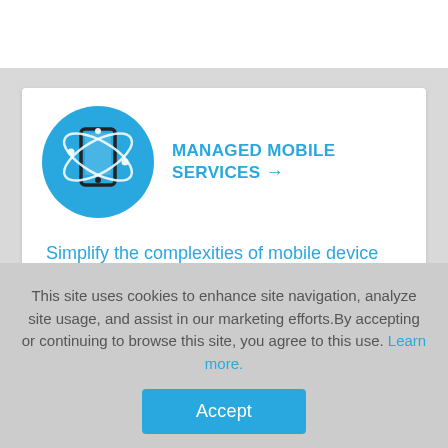[Figure (illustration): A white top bar area at the top of the page]
MANAGED MOBILE SERVICES →
Simplify the complexities of mobile device management and rapidly deploy and manage your growing mobile assets.
This site uses cookies to enhance site navigation, analyze site usage, and assist in our marketing efforts.By accepting or continuing to browse this site, you agree to this use. Learn more.
Accept